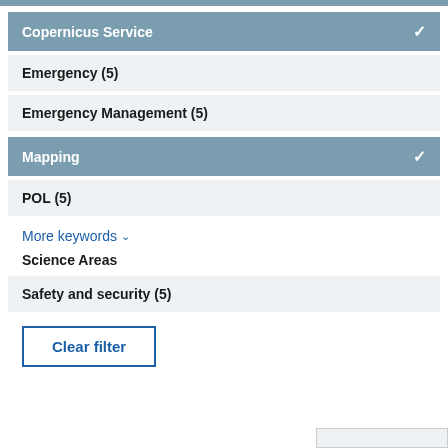Copernicus Service ✓
Emergency (5)
Emergency Management (5)
Mapping ✓
POL (5)
More keywords ∨
Science Areas
Safety and security (5)
Clear filter